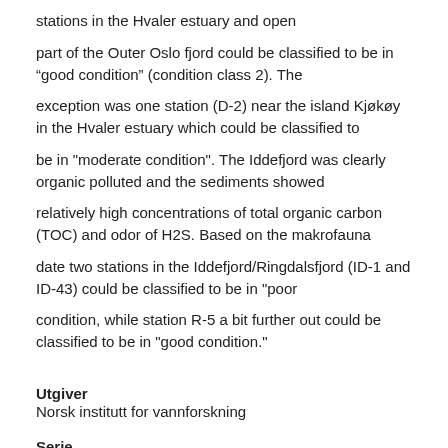stations in the Hvaler estuary and open
part of the Outer Oslo fjord could be classified to be in “good condition” (condition class 2). The
exception was one station (D-2) near the island Kjøkøy in the Hvaler estuary which could be classified to
be in "moderate condition". The Iddefjord was clearly organic polluted and the sediments showed
relatively high concentrations of total organic carbon (TOC) and odor of H2S. Based on the makrofauna
date two stations in the Iddefjord/Ringdalsfjord (ID-1 and ID-43) could be classified to be in "poor
condition, while station R-5 a bit further out could be classified to be in "good condition."
Utgiver
Norsk institutt for vannforskning
Serie